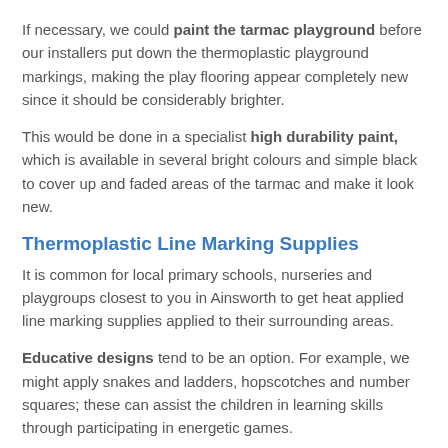If necessary, we could paint the tarmac playground before our installers put down the thermoplastic playground markings, making the play flooring appear completely new since it should be considerably brighter.
This would be done in a specialist high durability paint, which is available in several bright colours and simple black to cover up and faded areas of the tarmac and make it look new.
Thermoplastic Line Marking Supplies
It is common for local primary schools, nurseries and playgroups closest to you in Ainsworth to get heat applied line marking supplies applied to their surrounding areas.
Educative designs tend to be an option. For example, we might apply snakes and ladders, hopscotches and number squares; these can assist the children in learning skills through participating in energetic games.
We offer graphics that meet up with the curriculum, including key stage 1 school playground markings.